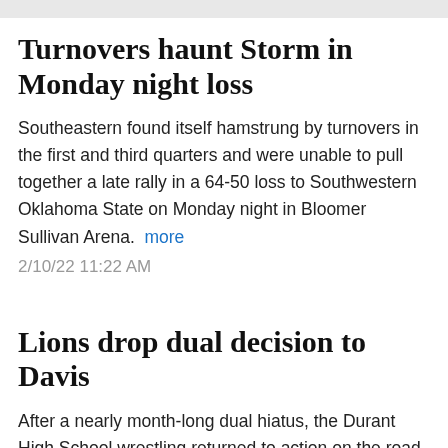Turnovers haunt Storm in Monday night loss
Southeastern found itself hamstrung by turnovers in the first and third quarters and were unable to pull together a late rally in a 64-50 loss to Southwestern Oklahoma State on Monday night in Bloomer Sullivan Arena.  more
2/10/22 11:22 AM
Lions drop dual decision to Davis
After a nearly month-long dual hiatus, the Durant High School wrestling returned to action on the road last week but came out on the short end of a 45-36 decision to Davis.  more